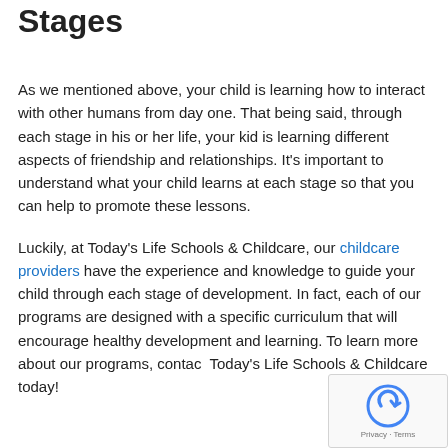Stages
As we mentioned above, your child is learning how to interact with other humans from day one. That being said, through each stage in his or her life, your kid is learning different aspects of friendship and relationships. It's important to understand what your child learns at each stage so that you can help to promote these lessons.
Luckily, at Today's Life Schools & Childcare, our childcare providers have the experience and knowledge to guide your child through each stage of development. In fact, each of our programs are designed with a specific curriculum that will encourage healthy development and learning. To learn more about our programs, contact Today's Life Schools & Childcare today!